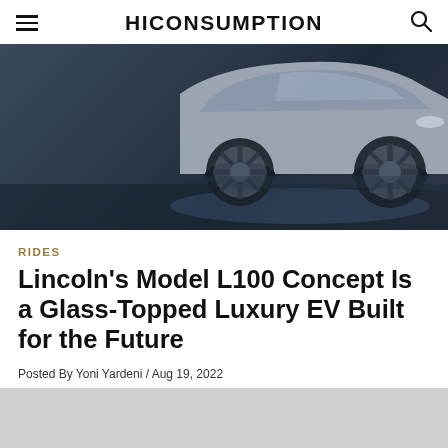HICONSUMPTION
[Figure (photo): Close-up rear/side view of the Lincoln Model L100 concept car, a silver futuristic luxury EV with distinctive spoke wheels, on a dark reflective studio floor.]
RIDES
Lincoln's Model L100 Concept Is a Glass-Topped Luxury EV Built for the Future
Posted By Yoni Yardeni / Aug 19, 2022